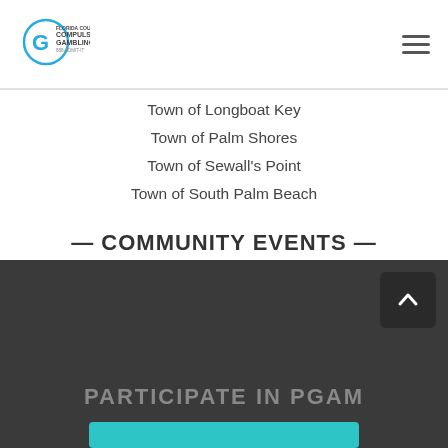Florida Council on Compulsive Gambling — Navigation header with logo and hamburger menu
Town of Longboat Key
Town of Palm Shores
Town of Sewall's Point
Town of South Palm Beach
— COMMUNITY EVENTS —
NGA Gator Classic – Orange County
This list was last updated on April 12, 2022.
PARTICIPATE IN PGAM